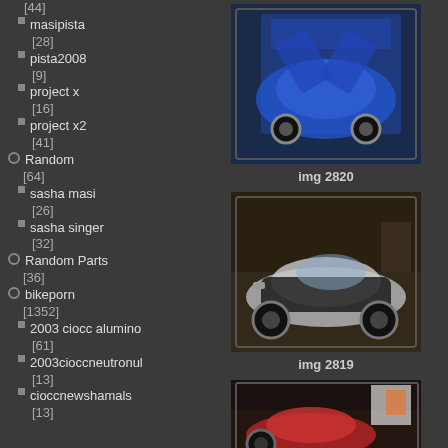[44]
masipista [28]
pista2008 [9]
project x [16]
project x2 [41]
Random [64]
sasha masi [26]
sasha singer [32]
Random Parts [36]
bikeporn [1352]
2003 ciocc alumino [61]
2003cioccneutronul [13]
cioccnewshamals [13]
[Figure (photo): Blue exotic sports car with doors open, shot at what appears to be an auto show, labeled img 2820]
img 2820
[Figure (photo): Silver sports car (Fisker Karma style) at an auto show, labeled img 2819]
img 2819
[Figure (photo): Red sports car at an auto show, partially visible, third image]